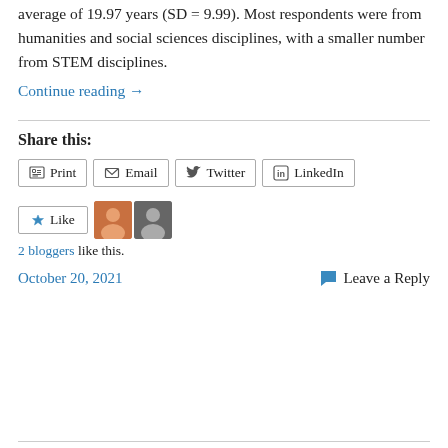average of 19.97 years (SD = 9.99). Most respondents were from humanities and social sciences disciplines, with a smaller number from STEM disciplines.
Continue reading →
Share this:
Print  Email  Twitter  LinkedIn
Like  2 bloggers like this.
October 20, 2021
Leave a Reply